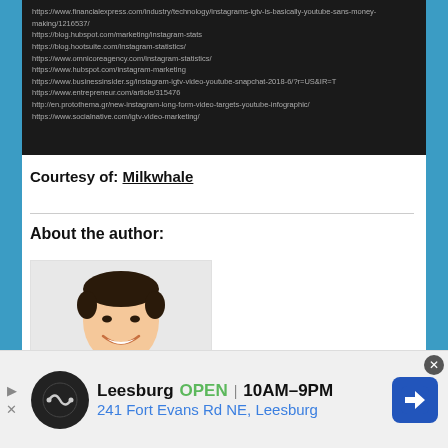https://www.financialexpress.com/industry/technology/instagrams-igtv-is-basically-youtube-sans-money-making/1216537/
https://blog.hubspot.com/marketing/instagram-stats
https://blog.hootsuite.com/instagram-statistics/
https://www.omnicoreagency.com/instagram-statistics/
https://www.hubspot.com/instagram-marketing
https://www.businessinsider.sg/instagram-igtv-video-youtube-snapchat-2018-6/?r=US&IR=T
https://www.entrepreneur.com/article/315476
http://en.protothema.gr/new-instagram-long-form-video-targets-youtube-infographic/
https://www.socialnative.com/igtv-video-marketing/
Courtesy of: Milkwhale
About the author:
[Figure (photo): Headshot photo of a smiling Asian man in a dark top]
[Figure (other): Advertisement banner: Leesburg OPEN 10AM-9PM, 241 Fort Evans Rd NE, Leesburg with logo and navigation icon]